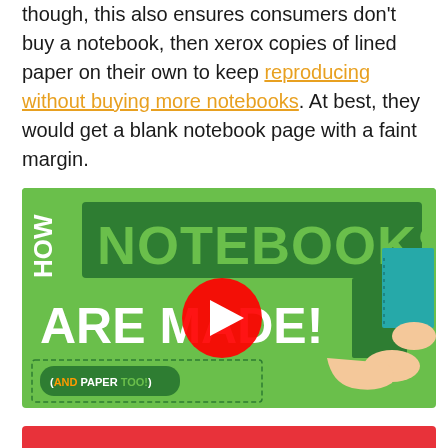though, this also ensures consumers don't buy a notebook, then xerox copies of lined paper on their own to keep reproducing without buying more notebooks. At best, they would get a blank notebook page with a faint margin.
[Figure (screenshot): YouTube video thumbnail showing 'HOW NOTEBOOKS ARE MADE! (AND PAPER TOO!)' on a green background with hands holding green and teal notebooks, and a YouTube play button in the center.]
[Figure (other): Red button/bar at the bottom of the page, partially visible.]